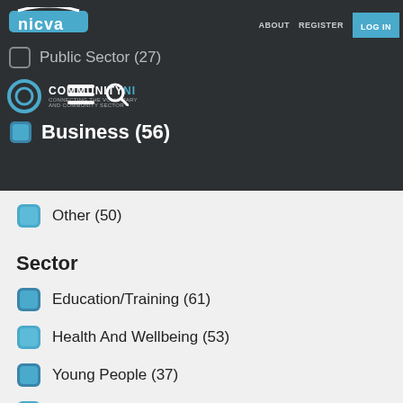nicva | ABOUT  REGISTER  LOG IN
Public Sector (27)
Business (56)
Other (50)
Sector
Education/Training (61)
Health And Wellbeing (53)
Young People (37)
Children And Families (28)
Community Relations (26)
Older People (22)
Lobbying/Policy (16)